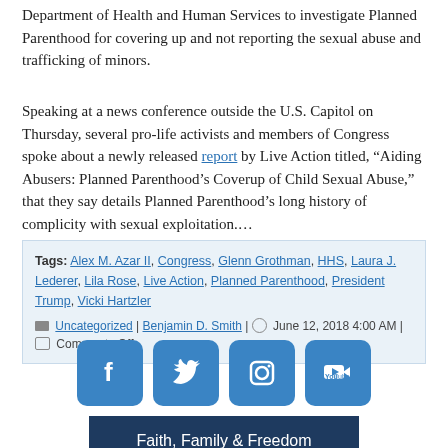Department of Health and Human Services to investigate Planned Parenthood for covering up and not reporting the sexual abuse and trafficking of minors.
Speaking at a news conference outside the U.S. Capitol on Thursday, several pro-life activists and members of Congress spoke about a newly released report by Live Action titled, "Aiding Abusers: Planned Parenthood's Coverup of Child Sexual Abuse," that they say details Planned Parenthood's long history of complicity with sexual exploitation.… Continue Reading
Tags: Alex M. Azar II, Congress, Glenn Grothman, HHS, Laura J. Lederer, Lila Rose, Live Action, Planned Parenthood, President Trump, Vicki Hartzler
Uncategorized | Benjamin D. Smith | June 12, 2018 4:00 AM | Comments Off
[Figure (other): Social media icons: Facebook, Twitter, Instagram, YouTube — rounded square blue buttons]
[Figure (other): Dark navy blue banner with text: Faith, Family & Freedom Fall Banquet]